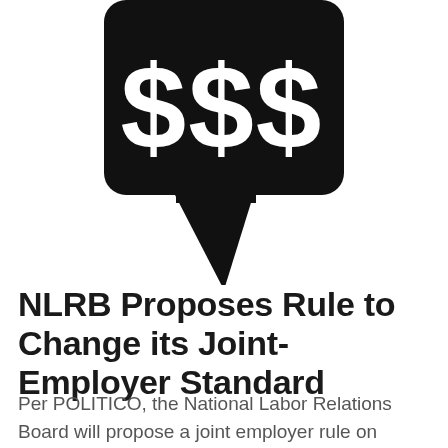[Figure (illustration): A black speech bubble icon containing three large dollar signs ($$$), with a triangular tail pointing down-left, displayed on white background.]
NLRB Proposes Rule to Change its Joint-Employer Standard
Per POLITICO, the National Labor Relations Board will propose a joint employer rule on Friday that would reverse the Obama-era Browning-